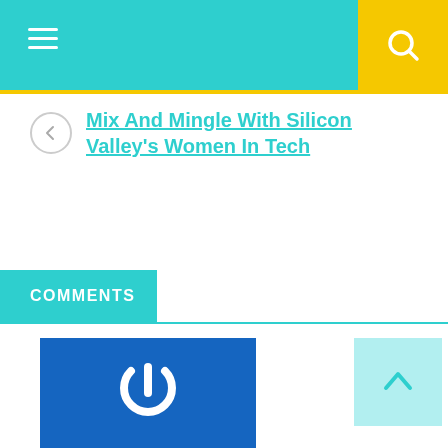Navigation header with hamburger menu and search icon
Mix And And Mingle With Silicon Valley's Women In Tech
COMMENTS
[Figure (logo): Blue square with white power button icon]
[Figure (other): Light teal back-to-top button with upward arrow]